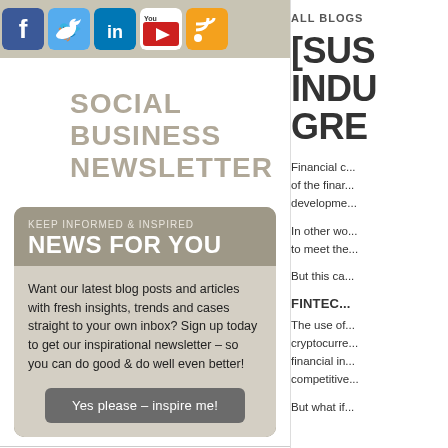[Figure (other): Social media icons bar: Facebook, Twitter, LinkedIn, YouTube, RSS feed]
SOCIAL BUSINESS NEWSLETTER
KEEP INFORMED & INSPIRED
NEWS FOR YOU
Want our latest blog posts and articles with fresh insights, trends and cases straight to your own inbox? Sign up today to get our inspirational newsletter – so you can do good & do well even better!
Yes please – inspire me!
ALL BLOGS
[SUS...
INDU...
GRE...
Financial c... of the finar development
In other wo... to meet the
But this ca...
FINTEC...
The use of cryptocurre financial in competitive
But what if...